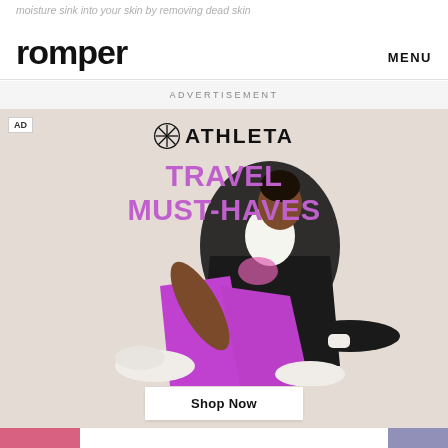moisture sink into your skin by removing dead skin…
romper   MENU
ADVERTISEMENT
[Figure (photo): Athleta advertisement featuring a Black woman wearing bright purple/magenta leggings, a sports bra, white turtleneck, and black blazer, seated on the floor with white sneakers. The background is warm beige/tan. The Athleta logo and snowflake icon appear at top center with the text 'TRAVEL MUST-HAVES' in purple. A 'Shop Now' button appears at the bottom center. An 'AD' badge appears in the top left corner.]